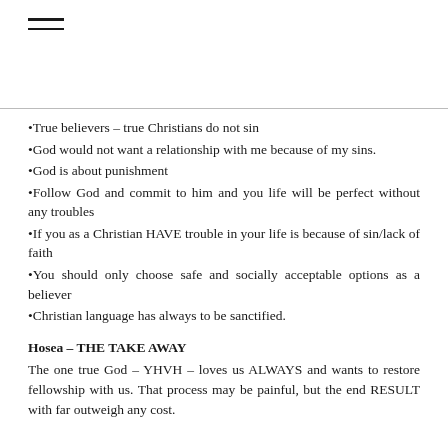•True believers – true Christians do not sin
•God would not want a relationship with me because of my sins.
•God is about punishment
•Follow God and commit to him and you life will be perfect without any troubles
•If you as a Christian HAVE trouble in your life is because of sin/lack of faith
•You should only choose safe and socially acceptable options as a believer
•Christian language has always to be sanctified.
Hosea – THE TAKE AWAY
The one true God – YHVH – loves us ALWAYS and wants to restore fellowship with us. That process may be painful, but the end RESULT with far outweigh any cost.